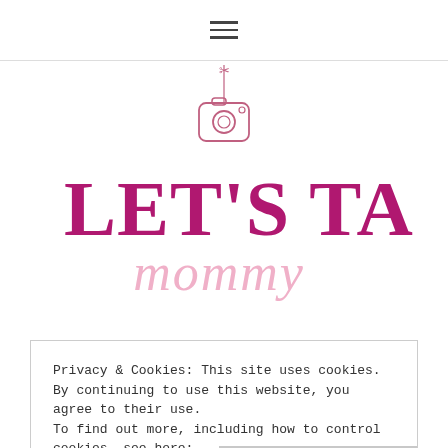hamburger menu icon
[Figure (logo): Let's Talk Mommy blog logo with camera icon hanging on a string above large magenta serif text 'LET'S TALK' and pink cursive script 'mommy' below]
Privacy & Cookies: This site uses cookies. By continuing to use this website, you agree to their use.
To find out more, including how to control cookies, see here:
Cookie Policy
Close and accept
STAY CONNECTED AND GET ALL THE LATEST